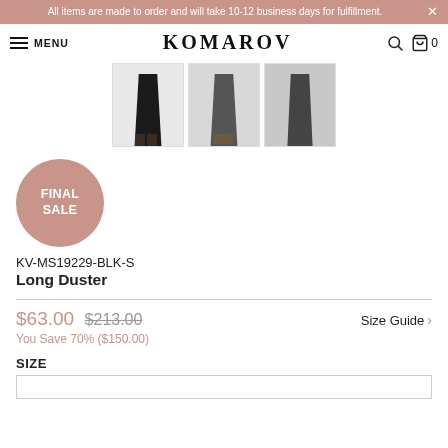All items are made to order and will take 10-12 business days for fulfillment.
KOMAROV  MENU
[Figure (photo): Three thumbnail images of a long duster garment in black/dark gray, shown from waist down on a model]
[Figure (other): FINAL SALE circular badge in dusty rose/mauve color]
KV-MS19229-BLK-S
Long Duster
$63.00  $213.00
You Save 70% ($150.00)
Size Guide
SIZE